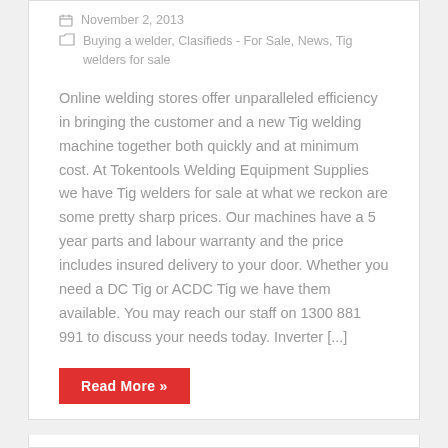November 2, 2013
Buying a welder, Clasifieds - For Sale, News, Tig welders for sale
Online welding stores offer unparalleled efficiency in bringing the customer and a new Tig welding machine together both quickly and at minimum cost. At Tokentools Welding Equipment Supplies we have Tig welders for sale at what we reckon are some pretty sharp prices. Our machines have a 5 year parts and labour warranty and the price includes insured delivery to your door. Whether you need a DC Tig or ACDC Tig we have them available. You may reach our staff on 1300 881 991 to discuss your needs today. Inverter [...]
Read More »